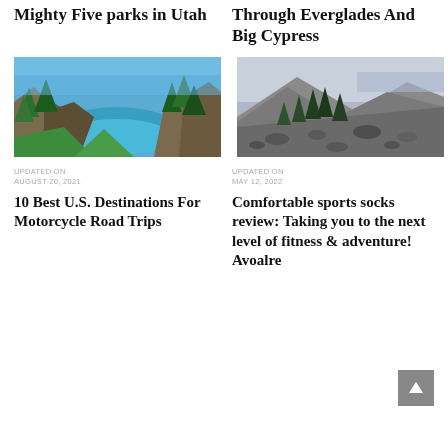Mighty Five parks in Utah
Through Everglades And Big Cypress
[Figure (photo): Coastal rocky cove with turquoise water surrounded by green trees]
[Figure (photo): Rocky mountain trail with sparse evergreen trees and distant mountains]
UPDATED ON
AUGUST 20, 2021
UPDATED ON
MAY 12, 2022
10 Best U.S. Destinations For Motorcycle Road Trips
Comfortable sports socks review: Taking you to the next level of fitness & adventure! Avoalre